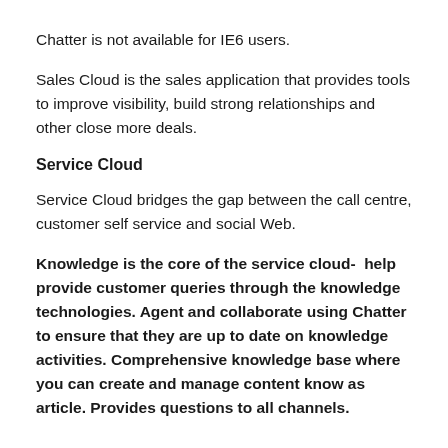Chatter is not available for IE6 users.
Sales Cloud is the sales application that provides tools to improve visibility, build strong relationships and other close more deals.
Service Cloud
Service Cloud bridges the gap between the call centre, customer self service and social Web.
Knowledge is the core of the service cloud-  help provide customer queries through the knowledge technologies. Agent and collaborate using Chatter to ensure that they are up to date on knowledge activities. Comprehensive knowledge base where you can create and manage content know as article. Provides questions to all channels.